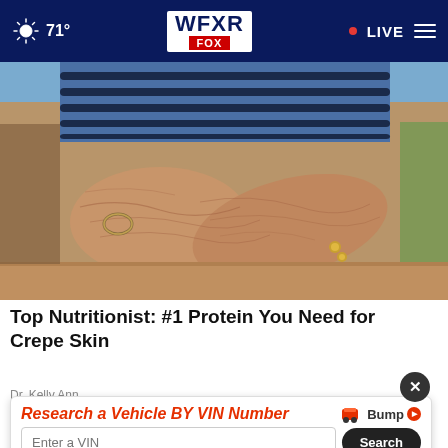71° WFXR FOX • LIVE
[Figure (photo): Close-up photo of elderly person's wrinkled arms crossed, wearing a blue and white striped shirt, with bracelets on wrists, resting on a surface]
Top Nutritionist: #1 Protein You Need for Crepe Skin
Dr. Kelly Ann
[Figure (infographic): Advertisement overlay: 'Research a Vehicle BY VIN Number' with Bump logo, VIN input field, and Search button. Close button (X) visible on the right.]